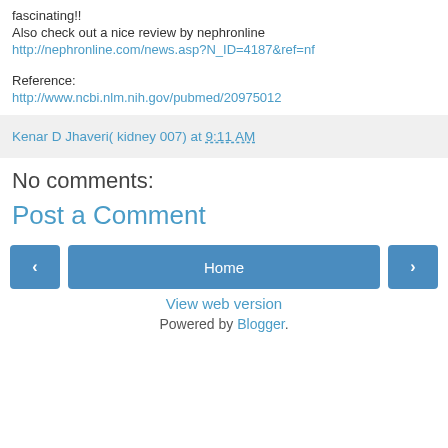fascinating!!
Also check out a nice review by nephronline
http://nephronline.com/news.asp?N_ID=4187&ref=nf
Reference:
http://www.ncbi.nlm.nih.gov/pubmed/20975012
Kenar D Jhaveri( kidney 007) at 9:11 AM
No comments:
Post a Comment
Home
View web version
Powered by Blogger.